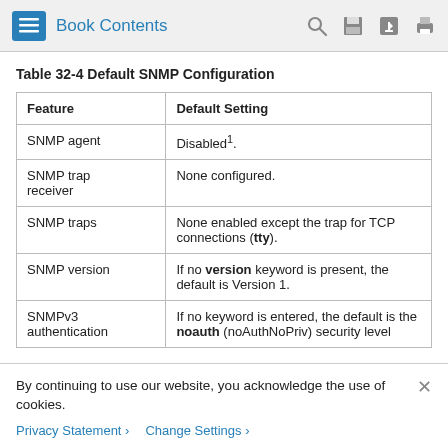Book Contents
Table 32-4 Default SNMP Configuration
| Feature | Default Setting |
| --- | --- |
| SNMP agent | Disabled1. |
| SNMP trap receiver | None configured. |
| SNMP traps | None enabled except the trap for TCP connections (tty). |
| SNMP version | If no version keyword is present, the default is Version 1. |
| SNMPv3 authentication | If no keyword is entered, the default is the noauth (noAuthNoPriv) security level |
By continuing to use our website, you acknowledge the use of cookies.
Privacy Statement > Change Settings >